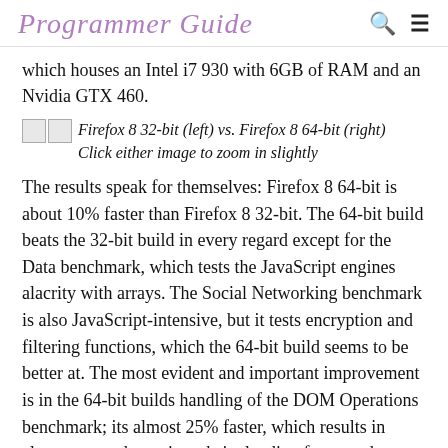Programmer Guide
which houses an Intel i7 930 with 6GB of RAM and an Nvidia GTX 460.
Firefox 8 32-bit (left) vs. Firefox 8 64-bit (right) Click either image to zoom in slightly
The results speak for themselves: Firefox 8 64-bit is about 10% faster than Firefox 8 32-bit. The 64-bit build beats the 32-bit build in every regard except for the Data benchmark, which tests the JavaScript engines alacrity with arrays. The Social Networking benchmark is also JavaScript-intensive, but it tests encryption and filtering functions, which the 64-bit build seems to be better at. The most evident and important improvement is in the 64-bit builds handling of the DOM Operations benchmark; its almost 25% faster, which results in almost every dynamic website loading faster and feeling more